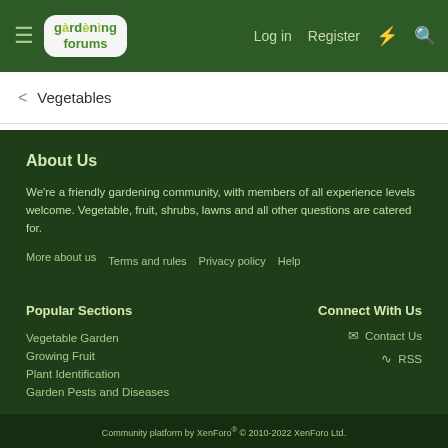Gardening Forums — Log in | Register
Vegetables
About Us
We're a friendly gardening community, with members of all experience levels welcome. Vegetable, fruit, shrubs, lawns and all other questions are catered for.
More about us
Terms and rules
Privacy policy
Help
Popular Sections
Vegetable Garden
Growing Fruit
Plant Identification
Garden Pests and Diseases
Connect With Us
Contact Us
RSS
Community platform by XenForo® © 2010-2022 XenForo Ltd.